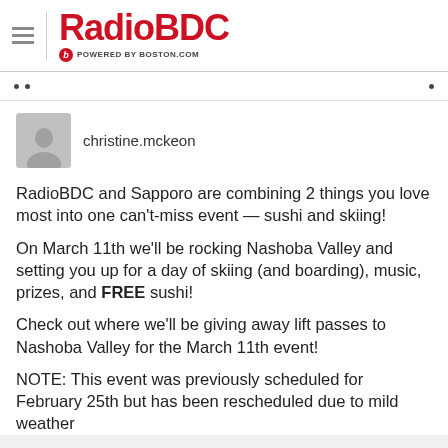RadioBDC POWERED BY BOSTON.COM
christine.mckeon
RadioBDC and Sapporo are combining 2 things you love most into one can't-miss event — sushi and skiing!
On March 11th we'll be rocking Nashoba Valley and setting you up for a day of skiing (and boarding), music, prizes, and FREE sushi!
Check out where we'll be giving away lift passes to Nashoba Valley for the March 11th event!
NOTE: This event was previously scheduled for February 25th but has been rescheduled due to mild weather